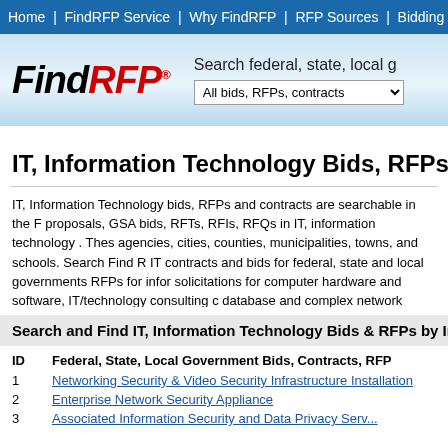Home | FindRFP Service | Why FindRFP | RFP Sources | Bidding Tips
[Figure (logo): FindRFP logo with search bar area]
IT, Information Technology Bids, RFPs & Gov
IT, Information Technology bids, RFPs and contracts are searchable in the F proposals, GSA bids, RFTs, RFIs, RFQs in IT, information technology . Thes agencies, cities, counties, municipalities, towns, and schools. Search Find R IT contracts and bids for federal, state and local governments RFPs for infor solicitations for computer hardware and software, IT/technology consulting c database and complex network security, and other bids and contracts. Below IT, Information Technology RFPs and bids sent to you automatically with the
Search and Find IT, Information Technology Bids & RFPs by Indus
| ID | Federal, State, Local Government Bids, Contracts, RFP |
| --- | --- |
| 1 | Networking Security & Video Security Infrastructure Installation |
| 2 | Enterprise Network Security Appliance |
| 3 | Associated Information Security and Data Privacy Serv... |